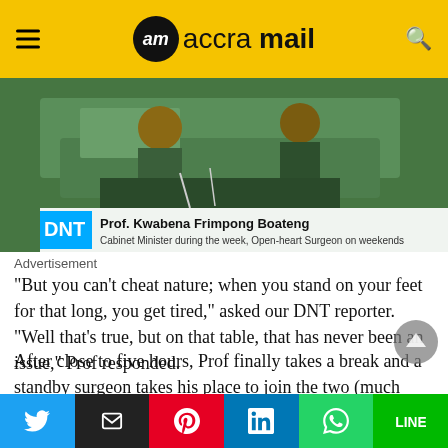accra mail
[Figure (photo): Photo of surgical operation with Prof. Kwabena Frimpong Boateng, Cabinet Minister during the week, Open-heart Surgeon on weekends]
Prof. Kwabena Frimpong Boateng — Cabinet Minister during the week, Open-heart Surgeon on weekends
Advertisement
“But you can’t cheat nature; when you stand on your feet for that long, you get tired,” asked our DNT reporter. “Well that’s true, but on that table, that has never been an issue,” Prof responded.
After close to five hours, Prof finally takes a break and a standby surgeon takes his place to join the two (much younger) ones who were working with him. By this time it is well past mid-day and Prof sits on a bed in another